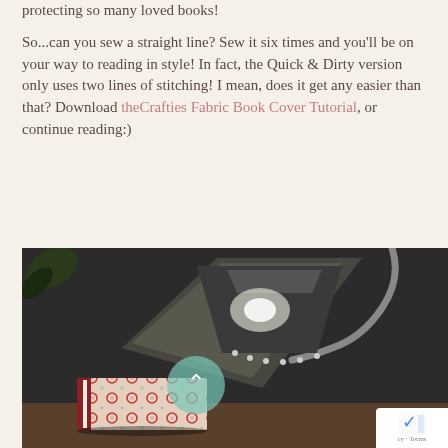protecting so many loved books!
So...can you sew a straight line? Sew it six times and you'll be on your way to reading in style! In fact, the Quick & Dirty version only uses two lines of stitching! I mean, does it get any easier than that? Download theCrafties Fabric Book Cover Tutorial, or continue reading:)
[Figure (photo): A black desk lamp illuminating a surface, with a patterned fabric book cover (red and white with small floral/dot pattern) resting on a wooden surface beneath the lamp. A reCAPTCHA widget is partially visible in the bottom right corner.]